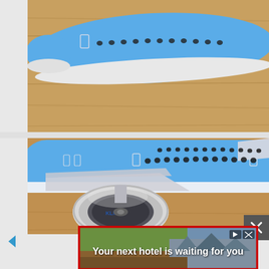[Figure (photo): Close-up photo of a KLM Boeing model airplane fuselage showing the nose section and windows, placed on a wooden surface. The airplane is light blue and white with small oval windows visible.]
[Figure (photo): Close-up photo of a KLM Boeing model airplane showing the fuselage with rows of oval windows, wings, and a large turbofan jet engine in the foreground. The model sits on a wooden surface. The engine has KLM branding visible.]
[Figure (photo): Advertisement banner: 'Your next hotel is waiting for you' with a scenic background image showing a landscape with mountains or ruins. Contains play/close control buttons in top right.]